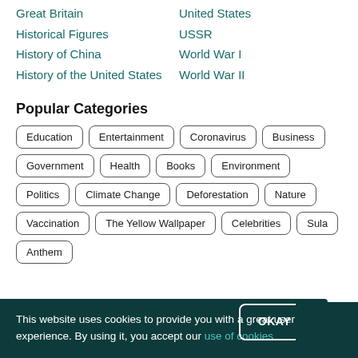Great Britain
Historical Figures
History of China
History of the United States
United States
USSR
World War I
World War II
Popular Categories
Education Entertainment Coronavirus Business Government Health Books Environment Politics Climate Change Deforestation Nature Vaccination The Yellow Wallpaper Celebrities Sula Anthem
This website uses cookies to provide you with a great user experience. By using it, you accept our use of cookies OKAY